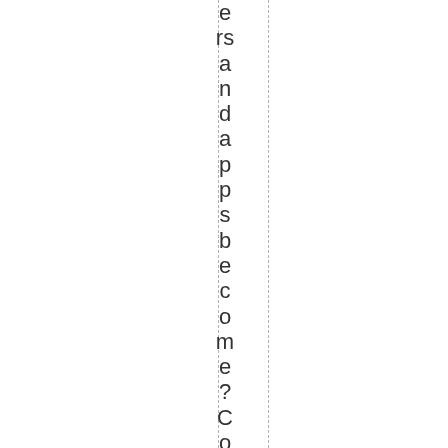ers and apps become? Consider this